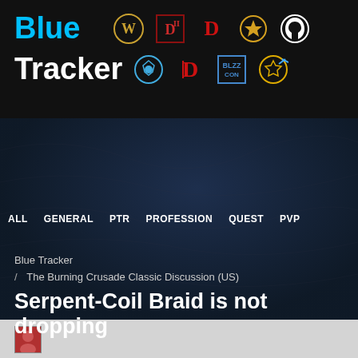Blue Tracker — navigation header with game icons (WoW, Diablo II, Diablo, Hearthstone, Overwatch, Nova, Diablo, BlizzCon, Storm)
ALL   GENERAL   PTR   PROFESSION   QUEST   PVP
Blue Tracker / The Burning Crusade Classic Discussion (US)
Serpent-Coil Braid is not dropping
[Figure (screenshot): Partial user avatar at bottom of page]